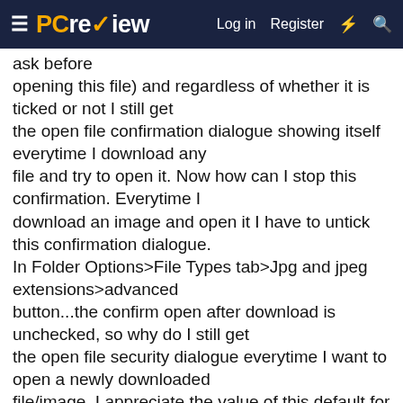PCreview — Log in  Register
ask before opening this file) and regardless of whether it is ticked or not I still get the open file confirmation dialogue showing itself everytime I download any file and try to open it. Now how can I stop this confirmation. Everytime I download an image and open it I have to untick this confirmation dialogue. In Folder Options>File Types tab>Jpg and jpeg extensions>advanced button...the confirm open after download is unchecked, so why do I still get the open file security dialogue everytime I want to open a newly downloaded file/image. I appreciate the value of this default for say an exe extension but is there some setting I can do get rid of this confirmation for certain file types?